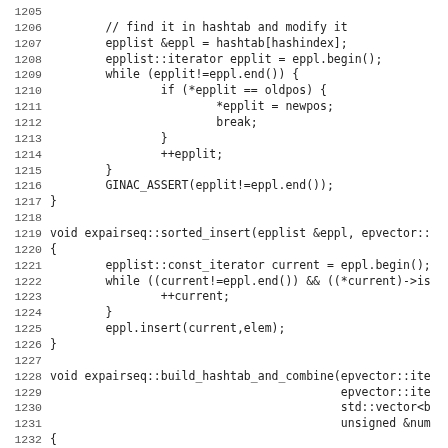[Figure (screenshot): Source code listing lines 1205-1236 showing C++ code for expairseq functions including hashtab modification, sorted_insert, and build_hashtab_and_combine]